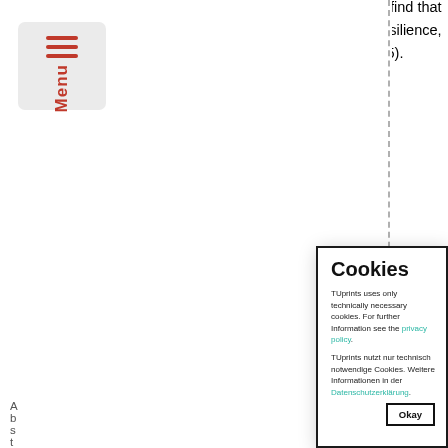[Figure (screenshot): Menu button icon with three horizontal red lines and red 'Menu' text, on a light gray rounded rectangle background]
also needs to be considered. For example, studies find that the supply network structure is directly related to resilience, which is the key to effective SCRM (Kim et al., 2015). Research has introduced network
Abstract
agenda for further research in the field. Next, in the second paper, it
[Figure (screenshot): Cookie consent modal dialog. Title: 'Cookies'. Body text in English: 'TUprints uses only technically necessary cookies. For further Information see the privacy policy.' Body text in German: 'TUprints nutzt nur technisch notwendige Cookies. Weitere Informationen in der Datenschutzerklärung.' Button: 'Okay']